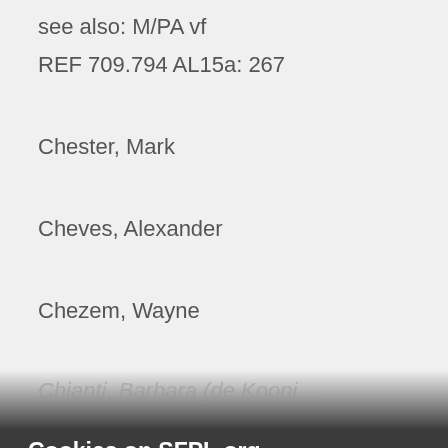see also: M/PA vf
REF 709.794 AL15a: 267
Chester, Mark
Cheves, Alexander
Chezem, Wayne
Cookies on SFPL.org
The San Francisco Public Library website uses cookies to improve your experience. Declining the use of cookies will not prevent you from using the website but some of your preferences may not be retained.
Decline
Accept